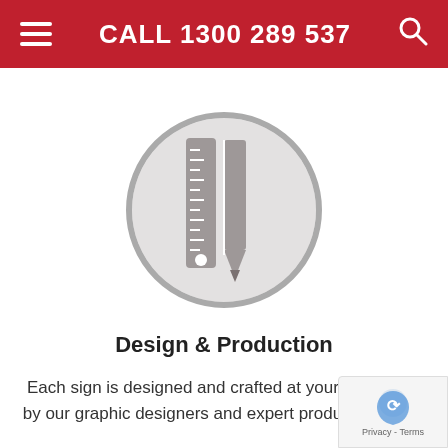CALL 1300 289 537
[Figure (logo): Circular grey icon containing a ruler and pencil/pen graphic representing design and production services]
Design & Production
Each sign is designed and crafted at your local store by our graphic designers and expert production team.